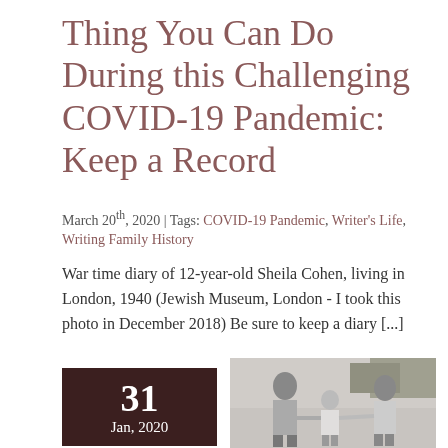Thing You Can Do During this Challenging COVID-19 Pandemic: Keep a Record
March 20th, 2020 | Tags: COVID-19 Pandemic, Writer's Life, Writing Family History
War time diary of 12-year-old Sheila Cohen, living in London, 1940 (Jewish Museum, London - I took this photo in December 2018) Be sure to keep a diary [...]
31 Jan, 2020
[Figure (photo): Black and white photograph of three people - two adults and a child - walking outdoors, with trees and a street visible in the background.]